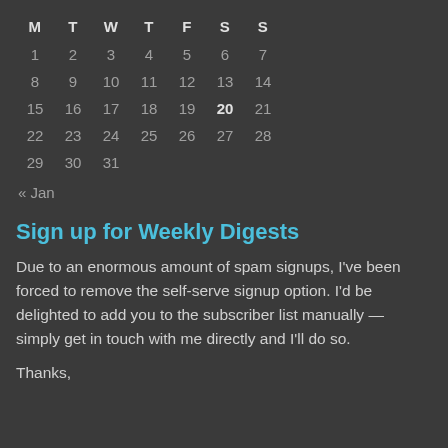| M | T | W | T | F | S | S |
| --- | --- | --- | --- | --- | --- | --- |
| 1 | 2 | 3 | 4 | 5 | 6 | 7 |
| 8 | 9 | 10 | 11 | 12 | 13 | 14 |
| 15 | 16 | 17 | 18 | 19 | 20 | 21 |
| 22 | 23 | 24 | 25 | 26 | 27 | 28 |
| 29 | 30 | 31 |  |  |  |  |
« Jan
Sign up for Weekly Digests
Due to an enormous amount of spam signups, I've been forced to remove the self-serve signup option. I'd be delighted to add you to the subscriber list manually — simply get in touch with me directly and I'll do so.
Thanks,